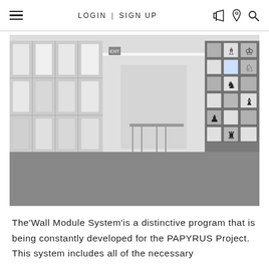LOGIN | SIGN UP
[Figure (photo): Interior of a modern showroom or gallery space in black and white. On the left side, large grid-paneled glass walls let in light. On the right side, a display wall of grid boxes contains large chess piece silhouettes (bishop, king, knight, rook, pawn). A table with chairs is visible in the background center.]
The'Wall Module System'is a distinctive program that is being constantly developed for the PAPYRUS Project. This system includes all of the necessary